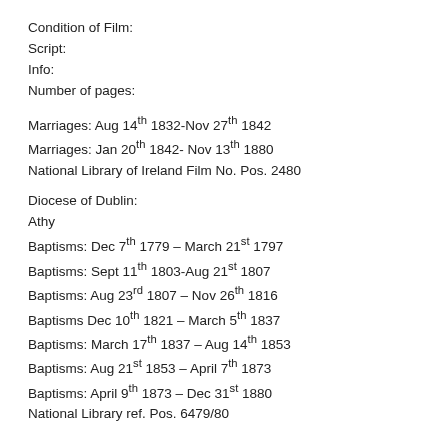Condition of Film:
Script:
Info:
Number of pages:
Marriages: Aug 14th 1832-Nov 27th 1842
Marriages: Jan 20th 1842- Nov 13th 1880
National Library of Ireland Film No. Pos. 2480
Diocese of Dublin:
Athy
Baptisms: Dec 7th 1779 – March 21st 1797
Baptisms: Sept 11th 1803-Aug 21st 1807
Baptisms: Aug 23rd 1807 – Nov 26th 1816
Baptisms Dec 10th 1821 – March 5th 1837
Baptisms: March 17th 1837 – Aug 14th 1853
Baptisms: Aug 21st 1853 – April 7th 1873
Baptisms: April 9th 1873 – Dec 31st 1880
National Library ref. Pos. 6479/80